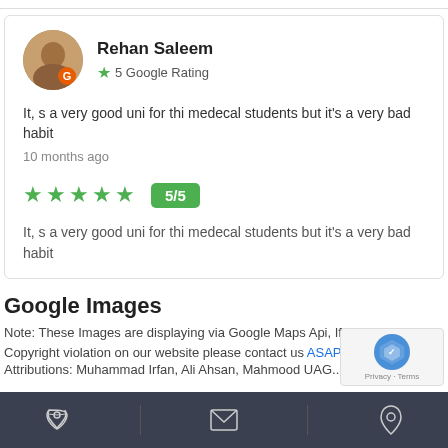Rehan Saleem
5 Google Rating
It, s a very good uni for thi medecal students but it's a very bad habit
10 months ago
5/5
It, s a very good uni for thi medecal students but it's a very bad habit
Google Images
Note: These Images are displaying via Google Maps Api, If you see any Copyright violation on our website please contact us ASAP.
Attributions: Muhammad Irfan, Ali Ahsan, Mahmood UAG...